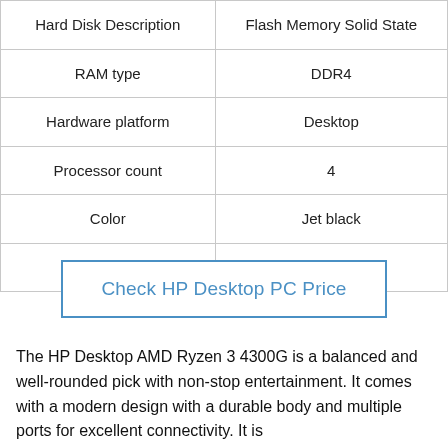| Hard Disk Description | Flash Memory Solid State |
| --- | --- |
| RAM type | DDR4 |
| Hardware platform | Desktop |
| Processor count | 4 |
| Color | Jet black |
| Weight | 10.41 pounds |
Check HP Desktop PC Price
The HP Desktop AMD Ryzen 3 4300G is a balanced and well-rounded pick with non-stop entertainment. It comes with a modern design with a durable body and multiple ports for excellent connectivity. It is